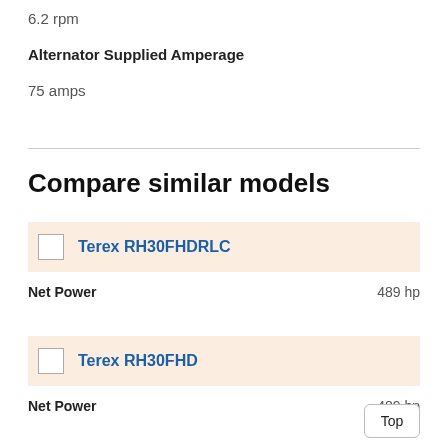6.2 rpm
Alternator Supplied Amperage
75 amps
Compare similar models
Terex RH30FHDRLC
Net Power   489 hp
Terex RH30FHD
Net Power   489 hp